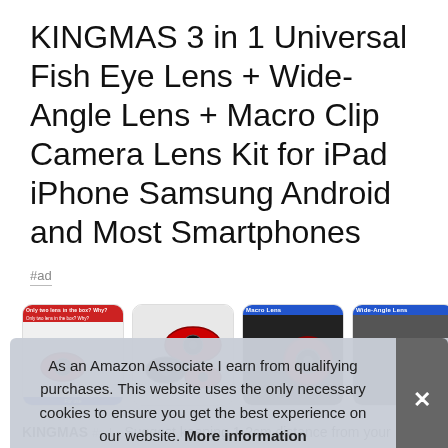KINGMAS 3 in 1 Universal Fish Eye Lens + Wide-Angle Lens + Macro Clip Camera Lens Kit for iPad iPhone Samsung Android and Most Smartphones
#ad
[Figure (screenshot): Four product thumbnail images of the KINGMAS lens kit showing different product angles and lens types including Macro Lens and Wide-Angle Lens labels]
As an Amazon Associate I earn from qualifying purchases. This website uses the only necessary cookies to ensure you get the best experience on our website. More information
KINGMAS #ad - Suggest keeping 1-2cm distance from your